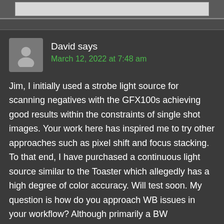David says
March 12, 2022 at 7:48 am
Jim, I initially used a strobe light source for scanning negatives with the GFX100s achieving good results within the constraints of single shot images. Your work here has inspired me to try other approaches such as pixel shift and focus stacking. To that end, I have purchased a continuous light source similar to the Toaster which allegedly has a high degree of color accuracy. Will test soon. My question is how do you approach WB issues in your workflow? Although primarily a BW photographer I do have some color negatives I'd like to...